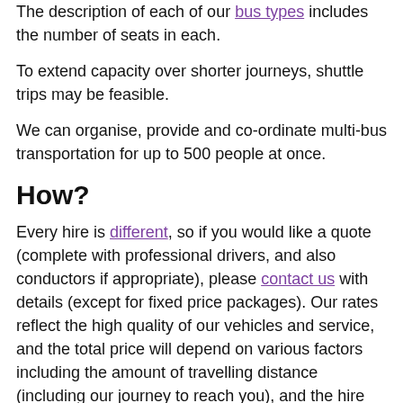The description of each of our bus types includes the number of seats in each.
To extend capacity over shorter journeys, shuttle trips may be feasible.
We can organise, provide and co-ordinate multi-bus transportation for up to 500 people at once.
How?
Every hire is different, so if you would like a quote (complete with professional drivers, and also conductors if appropriate), please contact us with details (except for fixed price packages). Our rates reflect the high quality of our vehicles and service, and the total price will depend on various factors including the amount of travelling distance (including our journey to reach you), and the hire duration.
There is no VAT applicable to our hire prices, where the primary purpose is passenger transportation.
Payments can be made by bank transfer, or the cards displayed below are accepted over the telephone.